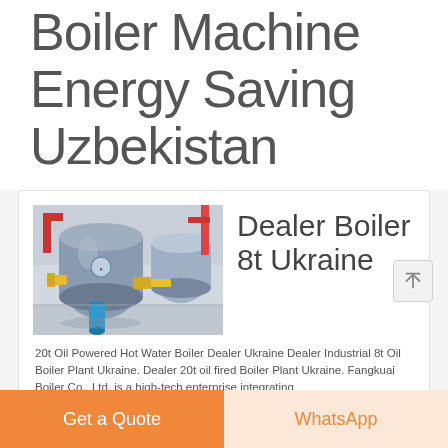Boiler Machine Energy Saving Uzbekistan
[Figure (photo): Industrial boiler machines in a facility — large cylindrical steel boilers with yellow and blue pipes and fittings in an industrial plant room]
Dealer Boiler 8t Ukraine
20t Oil Powered Hot Water Boiler Dealer Ukraine Dealer Industrial 8t Oil Boiler Plant Ukraine. Dealer 20t oil fired Boiler Plant Ukraine. Fangkuai Boiler Co., Ltd. is a high-tech enterprise integrating...
Get a Quote
WhatsApp